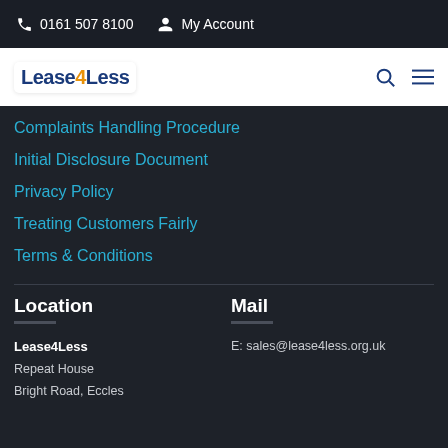0161 507 8100  My Account
[Figure (logo): Lease4Less company logo with blue text and orange '4']
Complaints Handling Procedure
Initial Disclosure Document
Privacy Policy
Treating Customers Fairly
Terms & Conditions
Location
Mail
Lease4Less
Repeat House
Bright Road, Eccles
E: sales@lease4less.org.uk